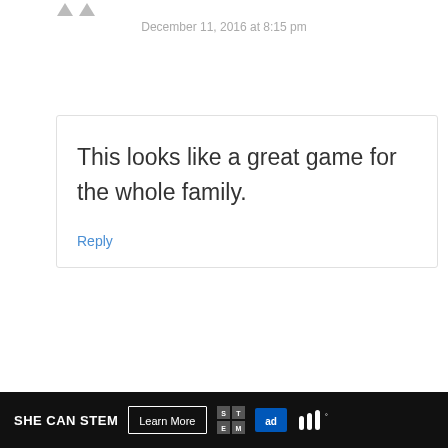December 11, 2016 at 8:15 pm
This looks like a great game for the whole family.
Reply
[Figure (screenshot): What's Next panel showing Wicked Uncle Neon Messa...]
janine atkin
[Figure (infographic): SHE CAN STEM ad bar with Learn More button, STEM logo, Ad Council logo, and MSNBC logo]